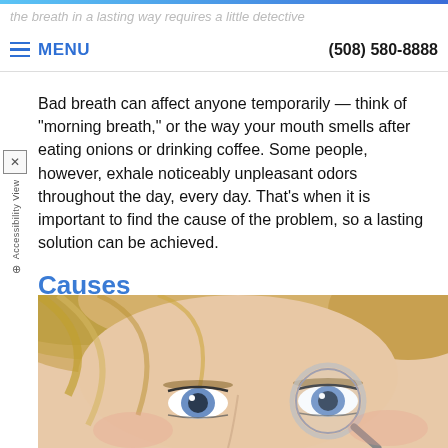the breath in a lasting way requires a little detective work on the part of dental professionals.
MENU   (508) 580-8888
Bad breath can affect anyone temporarily — think of "morning breath," or the way your mouth smells after eating onions or drinking coffee. Some people, however, exhale noticeably unpleasant odors throughout the day, every day. That's when it is important to find the cause of the problem, so a lasting solution can be achieved.
Causes
[Figure (photo): Close-up photo of a young blonde woman's face, looking upward with wide eyes, holding a magnifying glass up to one eye.]